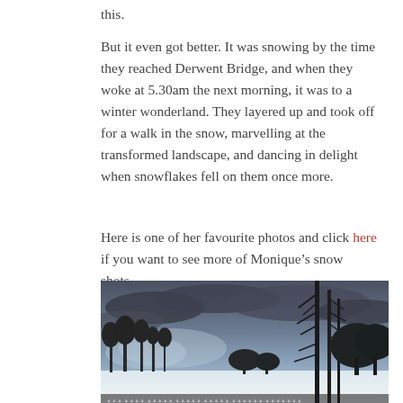this.
But it even got better. It was snowing by the time they reached Derwent Bridge, and when they woke at 5.30am the next morning, it was to a winter wonderland. They layered up and took off for a walk in the snow, marvelling at the transformed landscape, and dancing in delight when snowflakes fell on them once more.
Here is one of her favourite photos and click here if you want to see more of Monique’s snow shots.
[Figure (photo): A winter landscape photo showing a snow-covered field with bare and leafy trees against a cloudy grey-blue sky at dawn or dusk.]